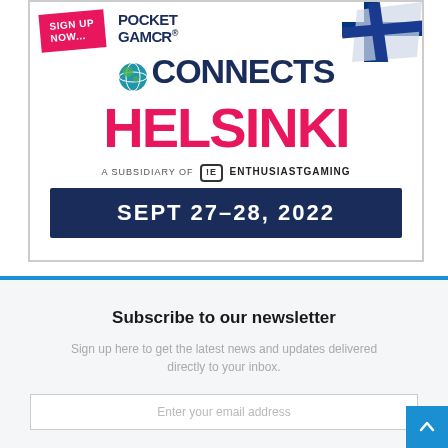[Figure (illustration): Pocket Gamer Connects Helsinki advertisement banner showing 'SIGN UP NOW...' badge, Pocket Gamer Connects logo with globe icon, Finnish flag graphic, 'HELSINKI' in pink text, 'A SUBSIDIARY OF Enthusiast Gaming' tagline, and 'SEPT 27-28, 2022' date bar on dark navy background.]
Subscribe to our newsletter
Sign up here to get the latest news and updates delivered directly to your inbox.